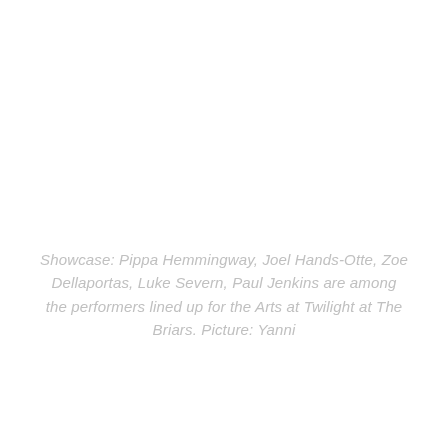Showcase: Pippa Hemmingway, Joel Hands-Otte, Zoe Dellaportas, Luke Severn, Paul Jenkins are among the performers lined up for the Arts at Twilight at The Briars. Picture: Yanni